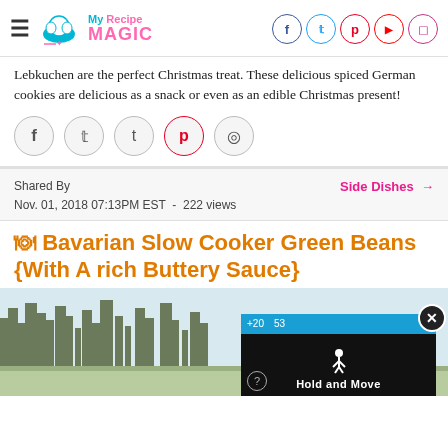My Recipe Magic — header with logo and social icons
Lebkuchen are the perfect Christmas treat. These delicious spiced German cookies are delicious as a snack or even as an edible Christmas present!
[Figure (other): Social share buttons row: Facebook, Twitter, Tumblr, Pinterest, WhatsApp]
Shared By
Nov. 01, 2018 07:13PM EST  -  222 views
Side Dishes →
🍽 Bavarian Slow Cooker Green Beans {With A rich Buttery Sauce}
[Figure (photo): Background photo of green beans or outdoor winter trees, with a 'Hold and Move' advertisement overlay]